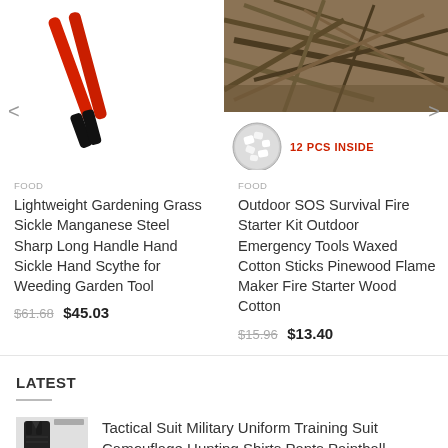[Figure (photo): Red-handled grass sickle/scythe tool with black grip, product photo]
[Figure (photo): Outdoor SOS Survival Fire Starter Kit showing sticks/roots background and white wax cotton pieces with '12 PCS INSIDE' label in red]
FOOD
Lightweight Gardening Grass Sickle Manganese Steel Sharp Long Handle Hand Sickle Hand Scythe for Weeding Garden Tool
$61.68  $45.03
FOOD
Outdoor SOS Survival Fire Starter Kit Outdoor Emergency Tools Waxed Cotton Sticks Pinewood Flame Maker Fire Starter Wood Cotton
$15.96  $13.40
LATEST
[Figure (photo): Tactical military suit showing jacket and pants in black/dark camouflage, small product thumbnail]
Tactical Suit Military Uniform Training Suit Camouflage Hunting Shirts Pants Paintball Clothes Sets with Free Pads 10 Pockets
$25.66  $39.18